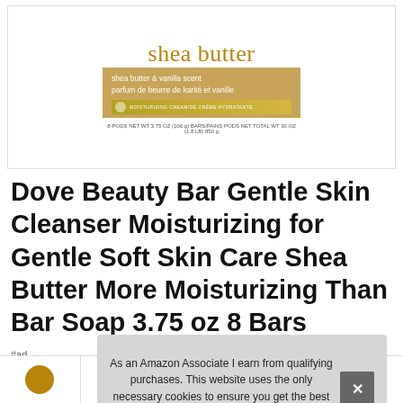[Figure (photo): Dove Shea Butter beauty bar product packaging showing 'shea butter' text in gold serif font, label with 'shea butter & vanilla scent / parfum de beurre de karité et vanille', moisturizing cream bar indicator, and net weight text: 8-PODS NET WT 3.75 OZ (106 g) BARS/PAINS PODS NET TOTAL WT 30 OZ (1.8 LB) 850 g]
Dove Beauty Bar Gentle Skin Cleanser Moisturizing for Gentle Soft Skin Care Shea Butter More Moisturizing Than Bar Soap 3.75 oz 8 Bars
As an Amazon Associate I earn from qualifying purchases. This website uses the only necessary cookies to ensure you get the best experience on our website. More information
#ad
[Figure (photo): Row of thumbnail product images at bottom of page]